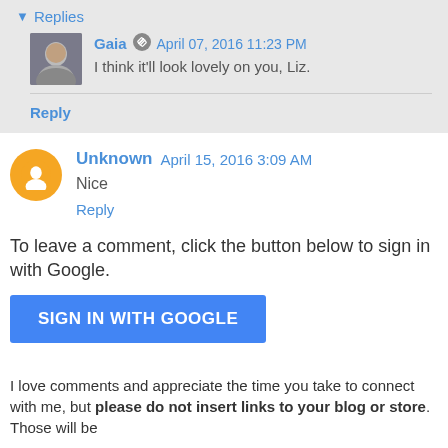▾ Replies
Gaia  April 07, 2016 11:23 PM — I think it'll look lovely on you, Liz.
Reply
Unknown  April 15, 2016 3:09 AM — Nice
Reply
To leave a comment, click the button below to sign in with Google.
SIGN IN WITH GOOGLE
I love comments and appreciate the time you take to connect with me, but please do not insert links to your blog or store. Those will be